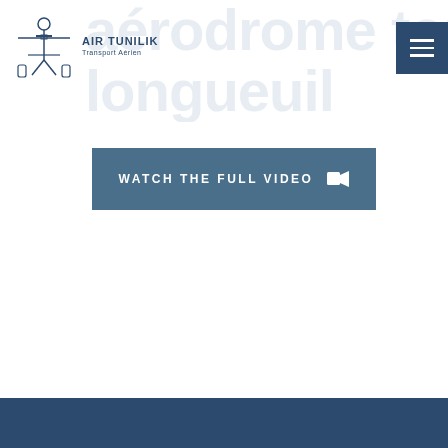[Figure (logo): Air Tunilik Transport Aérien logo with inuit figure and airplane]
aérodrome tours longueuil
[Figure (other): WATCH THE FULL VIDEO button with video camera icon in steel blue]